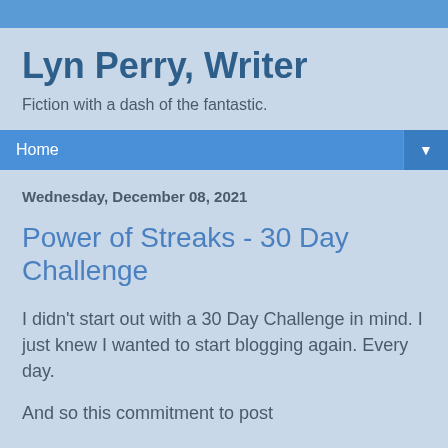Lyn Perry, Writer
Fiction with a dash of the fantastic.
Home ▼
Wednesday, December 08, 2021
Power of Streaks - 30 Day Challenge
I didn't start out with a 30 Day Challenge in mind. I just knew I wanted to start blogging again. Every day.
And so this commitment to post